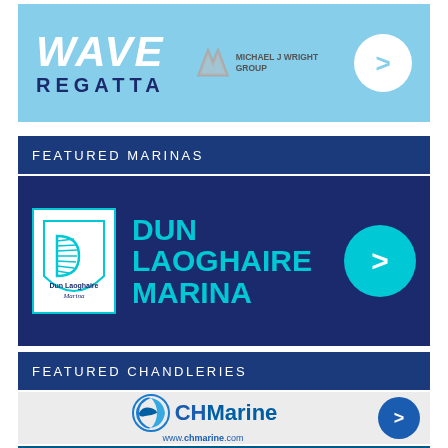[Figure (illustration): Wave Regatta banner with Michael J Wright Group logo and arrow button on light blue background]
FEATURED MARINAS
[Figure (logo): Dun Laoghaire Marina banner with logo, teal text on dark navy background and teal circle arrow button]
FEATURED CHANDLERIES
[Figure (logo): CH Marine logo with www.chmarine.com and blue circle arrow button on light grey background]
[Figure (illustration): Partial bottom banner in dark blue with partial logo visible]